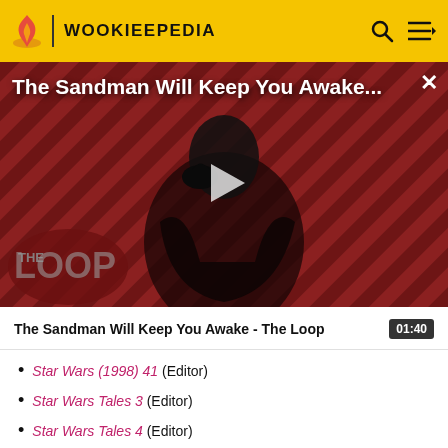WOOKIEEPEDIA
[Figure (screenshot): Video thumbnail showing a man in dark clothing with a raven, against a diagonal striped red/dark background. Overlay text reads 'The Sandman Will Keep You Awake...' with a play button in center and 'THE LOOP' branding at bottom left.]
The Sandman Will Keep You Awake - The Loop  01:40
Star Wars (1998) 41 (Editor)
Star Wars Tales 3 (Editor)
Star Wars Tales 4 (Editor)